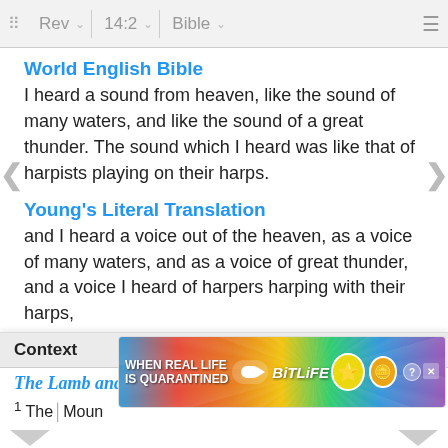Rev  14:2  Bible
World English Bible
I heard a sound from heaven, like the sound of many waters, and like the sound of a great thunder. The sound which I heard was like that of harpists playing on their harps.
Young's Literal Translation
and I heard a voice out of the heaven, as a voice of many waters, and as a voice of great thunder, and a voice I heard of harpers harping with their harps,
Additional Translations ...
Context
The Lamb and the 144,000
¹ Then...Mount...